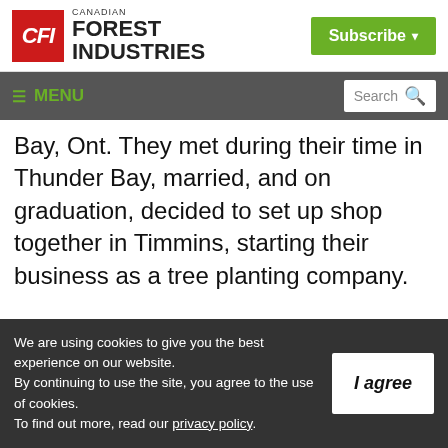[Figure (logo): Canadian Forest Industries logo with red CFI box and black text, plus green Subscribe button]
≡ MENU   Search
Bay, Ont. They met during their time in Thunder Bay, married, and on graduation, decided to set up shop together in Timmins, starting their business as a tree planting company.

To get things off the ground, the pair bought
We are using cookies to give you the best experience on our website. By continuing to use the site, you agree to the use of cookies. To find out more, read our privacy policy.
I agree